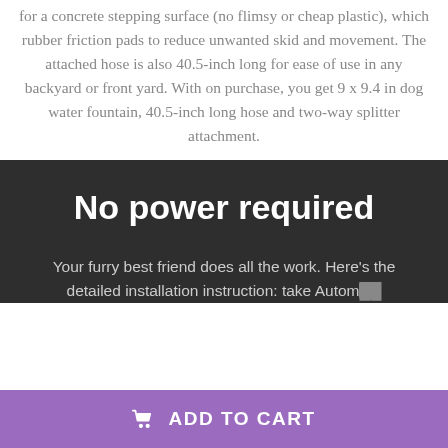for a concrete stepping surface (no flimsy or cheap plastic), which rubber friction pads to reduce unwanted skid and movement. The attached hose is also 40.5-inch long for ease of use in any backyard or front yard. With on purchase, you get 9 x 9.4 in dog water fountain,  40.5-inch long hose and two-way splitter attachment.
No power required
Your furry best friend does all the work. Here's the detailed installation instruction: take Autom...
ADD TO CART